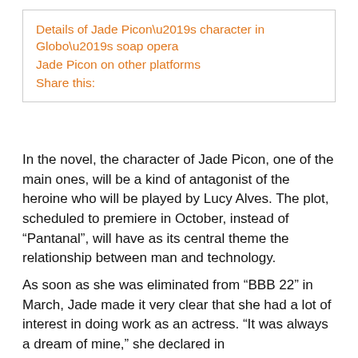Details of Jade Picon's character in Globo's soap opera
Jade Picon on other platforms
Share this:
In the novel, the character of Jade Picon, one of the main ones, will be a kind of antagonist of the heroine who will be played by Lucy Alves. The plot, scheduled to premiere in October, instead of “Pantanal”, will have as its central theme the relationship between man and technology.
As soon as she was eliminated from “BBB 22” in March, Jade made it very clear that she had a lot of interest in doing work as an actress. “It was always a dream of mine,” she declared in